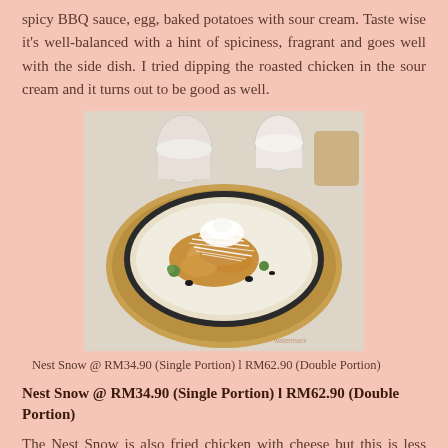spicy BBQ sauce, egg, baked potatoes with sour cream. Taste wise it's well-balanced with a hint of spiciness, fragrant and goes well with the side dish. I tried dipping the roasted chicken in the sour cream and it turns out to be good as well.
[Figure (photo): A sizzling hot plate dish with fried crispy chicken pieces topped with shredded white cheese and served in a cream sauce on a round black cast iron pan, with drinks visible in the background.]
Nest Snow @ RM34.90 (Single Portion) l RM62.90 (Double Portion)
Nest Snow @ RM34.90 (Single Portion) l RM62.90 (Double Portion)
The Nest Snow is also fried chicken with cheese but this is less cheesy compared to Rose Cheese Chiqueen. The crispy fried cajun chicken